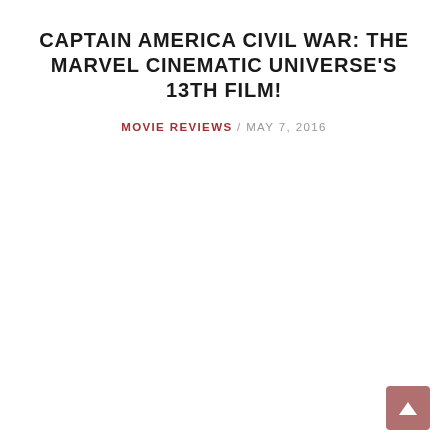CAPTAIN AMERICA CIVIL WAR: THE MARVEL CINEMATIC UNIVERSE'S 13TH FILM!
MOVIE REVIEWS / MAY 7, 2016